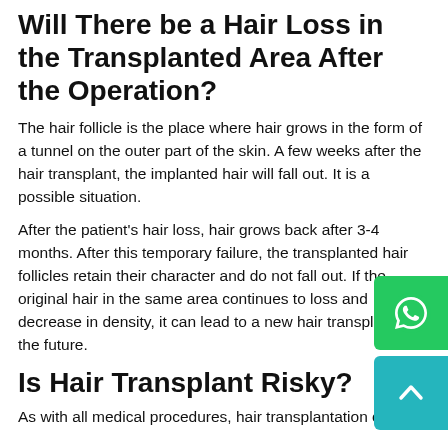Will There be a Hair Loss in the Transplanted Area After the Operation?
The hair follicle is the place where hair grows in the form of a tunnel on the outer part of the skin. A few weeks after the hair transplant, the implanted hair will fall out. It is a possible situation.
After the patient's hair loss, hair grows back after 3-4 months. After this temporary failure, the transplanted hair follicles retain their character and do not fall out. If the original hair in the same area continues to loss and decrease in density, it can lead to a new hair transplant in the future.
Is Hair Transplant Risky?
As with all medical procedures, hair transplantation can